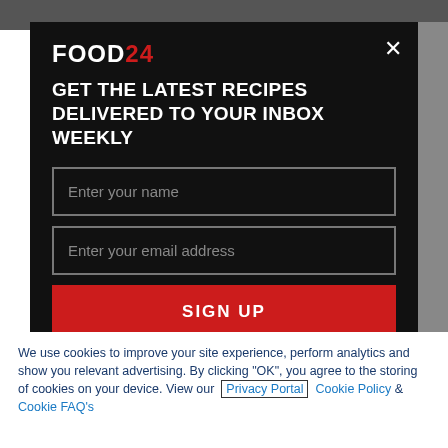[Figure (screenshot): Food24 logo in top left of modal — 'FOOD' in white bold and '24' in red bold]
GET THE LATEST RECIPES DELIVERED TO YOUR INBOX WEEKLY
Enter your name
Enter your email address
SIGN UP
Promotional Newsletter
Be the first to receive information about competitions and special offers
We use cookies to improve your site experience, perform analytics and show you relevant advertising. By clicking "OK", you agree to the storing of cookies on your device. View our Privacy Portal Cookie Policy & Cookie FAQ's